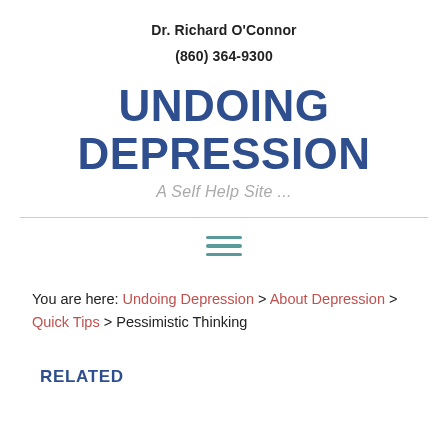Dr. Richard O'Connor
(860) 364-9300
UNDOING DEPRESSION
A Self Help Site ...
[Figure (other): Hamburger menu icon made of three horizontal teal lines]
You are here: Undoing Depression > About Depression > Quick Tips > Pessimistic Thinking
RELATED